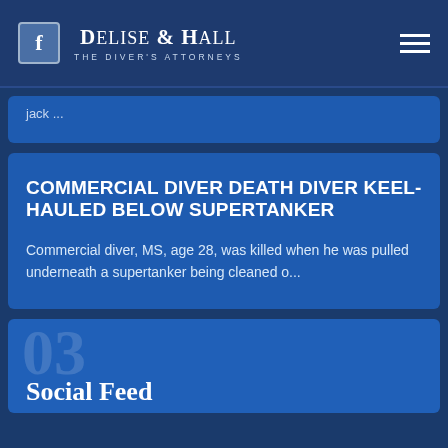Delise & Hall — The Diver's Attorneys
jack ...
COMMERCIAL DIVER DEATH DIVER KEEL-HAULED BELOW SUPERTANKER
Commercial diver, MS, age 28, was killed when he was pulled underneath a supertanker being cleaned o...
03 Social Feed